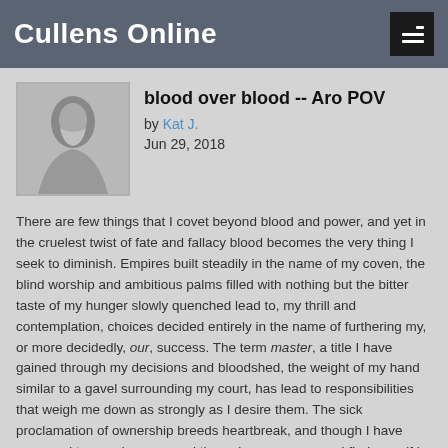Cullens Online
blood over blood -- Aro POV
by Kat J.
Jun 29, 2018
[Figure (photo): Thumbnail image showing a person's neck/shoulder in black and white]
There are few things that I covet beyond blood and power, and yet in the cruelest twist of fate and fallacy blood becomes the very thing I seek to diminish. Empires built steadily in the name of my coven, the blind worship and ambitious palms filled with nothing but the bitter taste of my hunger slowly quenched lead to, my thrill and contemplation, choices decided entirely in the name of furthering my, or more decidedly, our, success. The term master, a title I have gained through my decisions and bloodshed, the weight of my hand similar to a gavel surrounding my court, has lead to responsibilities that weigh me down as strongly as I desire them. The sick proclamation of ownership breeds heartbreak, and though I have managed to remain unscarred through so many years I find myself in a place of, however pesky, priorities.